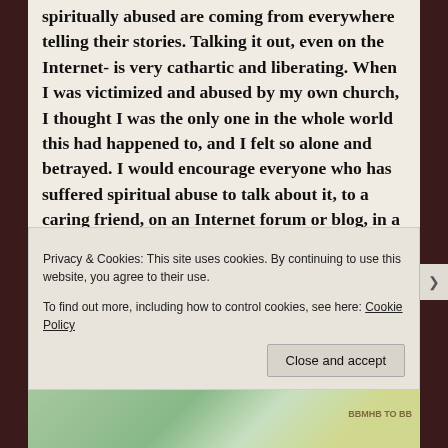spiritually abused are coming from everywhere telling their stories. Talking it out, even on the Internet- is very cathartic and liberating. When I was victimized and abused by my own church, I thought I was the only one in the whole world this had happened to, and I felt so alone and betrayed. I would encourage everyone who has suffered spiritual abuse to talk about it, to a caring friend, on an Internet forum or blog, in a support group..just talk about it. Then the healing can come as Jesus pours in the oil and the wine. Trust Him to do it, and be patient with yourself. It still takes
Privacy & Cookies: This site uses cookies. By continuing to use this website, you agree to their use.
To find out more, including how to control cookies, see here: Cookie Policy
Close and accept
[Figure (photo): Bottom strip showing partial images with green/nature tones and a text overlay]